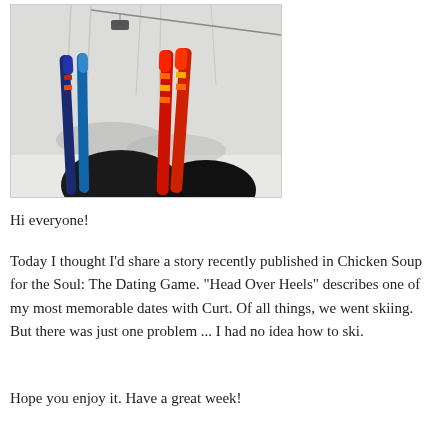[Figure (photo): View from a ski lift looking down at two pairs of skis (blue/black and red/orange) against a snowy slope with ski tracks and a lift cable visible in the background.]
Hi everyone!
Today I thought I'd share a story recently published in Chicken Soup for the Soul: The Dating Game. "Head Over Heels" describes one of my most memorable dates with Curt. Of all things, we went skiing. But there was just one problem ... I had no idea how to ski.
Hope you enjoy it. Have a great week!